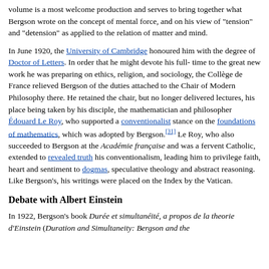volume is a most welcome production and serves to bring together what Bergson wrote on the concept of mental force, and on his view of "tension" and "detension" as applied to the relation of matter and mind.
In June 1920, the University of Cambridge honoured him with the degree of Doctor of Letters. In order that he might devote his full-time to the great new work he was preparing on ethics, religion, and sociology, the Collège de France relieved Bergson of the duties attached to the Chair of Modern Philosophy there. He retained the chair, but no longer delivered lectures, his place being taken by his disciple, the mathematician and philosopher Édouard Le Roy, who supported a conventionalist stance on the foundations of mathematics, which was adopted by Bergson.[31] Le Roy, who also succeeded to Bergson at the Académie française and was a fervent Catholic, extended to revealed truth his conventionalism, leading him to privilege faith, heart and sentiment to dogmas, speculative theology and abstract reasoning. Like Bergson's, his writings were placed on the Index by the Vatican.
Debate with Albert Einstein
In 1922, Bergson's book Durée et simultanéité, a propos de la theorie d'Einstein (Duration and Simultaneity: Bergson and the [32]